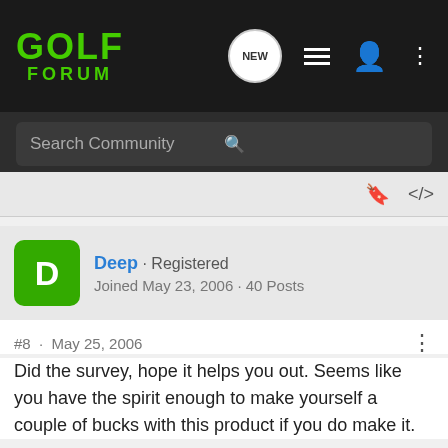[Figure (screenshot): Golf Forum website navigation bar with green GOLF FORUM logo, NEW bubble icon, list icon, user icon, and three-dots menu icon on dark background]
[Figure (screenshot): Search Community search bar on dark background with magnifying glass icon]
[Figure (screenshot): Bookmark and share icons on grey background]
Deep · Registered
Joined May 23, 2006 · 40 Posts
#8 · May 25, 2006
Did the survey, hope it helps you out. Seems like you have the spirit enough to make yourself a couple of bucks with this product if you do make it.